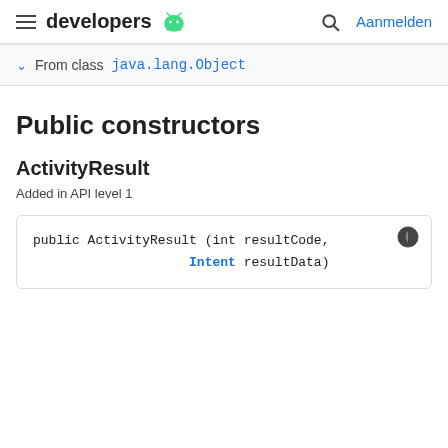developers  Aanmelden
From class java.lang.Object
Public constructors
ActivityResult
Added in API level 1